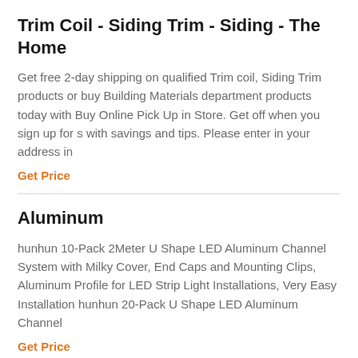Trim Coil - Siding Trim - Siding - The Home
Get free 2-day shipping on qualified Trim coil, Siding Trim products or buy Building Materials department products today with Buy Online Pick Up in Store. Get off when you sign up for s with savings and tips. Please enter in your address in
Get Price
Aluminum
hunhun 10-Pack 2Meter U Shape LED Aluminum Channel System with Milky Cover, End Caps and Mounting Clips, Aluminum Profile for LED Strip Light Installations, Very Easy Installation hunhun 20-Pack U Shape LED Aluminum Channel
Get Price
Trim Coil Metal Siding Trim At